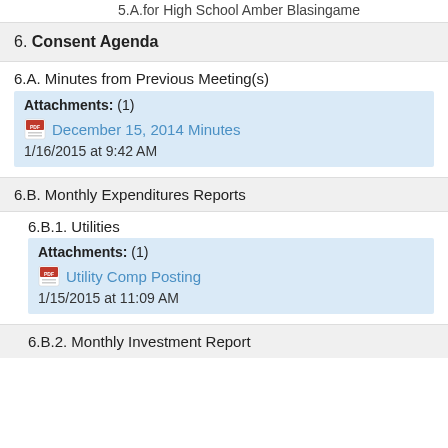5.A.for High School Amber Blasingame
6. Consent Agenda
6.A. Minutes from Previous Meeting(s)
Attachments: (1)
December 15, 2014 Minutes
1/16/2015 at 9:42 AM
6.B. Monthly Expenditures Reports
6.B.1. Utilities
Attachments: (1)
Utility Comp Posting
1/15/2015 at 11:09 AM
6.B.2. Monthly Investment Report